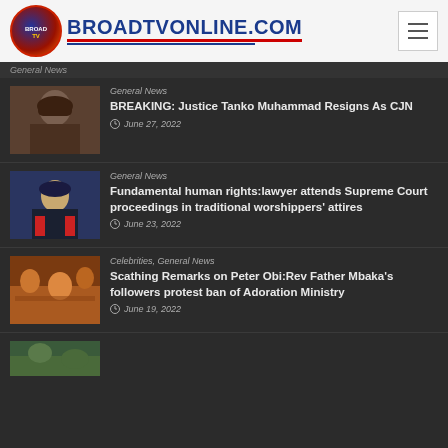BROADTVONLINE.COM
General News
BREAKING: Justice Tanko Muhammad Resigns As CJN
June 27, 2022
[Figure (photo): Portrait photo of Justice Tanko Muhammad]
General News
Fundamental human rights:lawyer attends Supreme Court proceedings in traditional worshippers' attires
June 23, 2022
[Figure (photo): Photo of lawyer in traditional attire at Supreme Court]
Celebrities, General News
Scathing Remarks on Peter Obi:Rev Father Mbaka's followers protest ban of Adoration Ministry
June 19, 2022
[Figure (photo): Photo of protesters at Adoration Ministry]